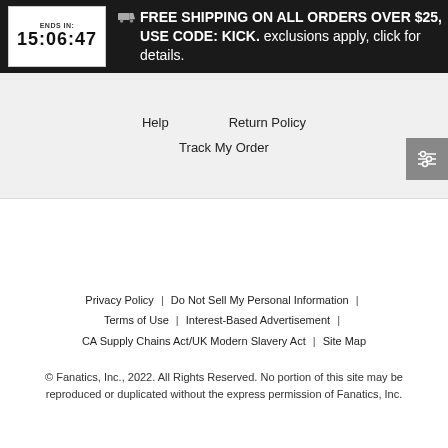[Figure (screenshot): Promotional banner with countdown timer showing 'ENDS IN: 15:06:47' and text 'FREE SHIPPING ON ALL ORDERS OVER $25, USE CODE: KICK. exclusions apply, click for details.' with a truck icon on dark background.]
Help    Return Policy
Track My Order
Privacy Policy  |  Do Not Sell My Personal Information  |  Terms of Use  |  Interest-Based Advertisement  |
CA Supply Chains Act/UK Modern Slavery Act  |  Site Map
© Fanatics, Inc., 2022. All Rights Reserved. No portion of this site may be reproduced or duplicated without the express permission of Fanatics, Inc.